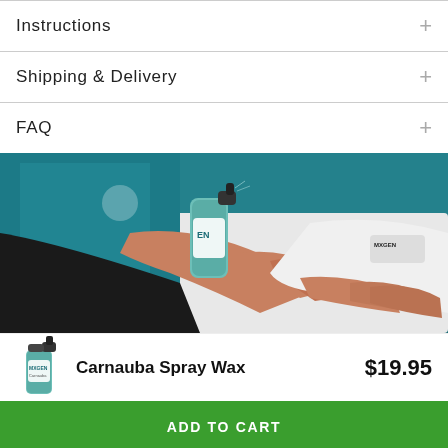Instructions
Shipping & Delivery
FAQ
[Figure (photo): Person spraying Meguiar's Carnauba Spray Wax from a green spray bottle onto a white car surface with a microfiber cloth, teal car door in background]
Carnauba Spray Wax   $19.95
ADD TO CART